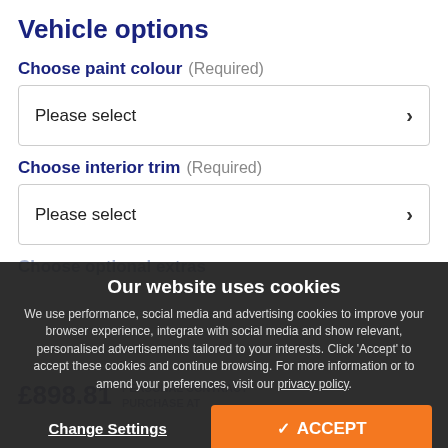Vehicle options
Choose paint colour (Required)
Please select
Choose interior trim (Required)
Please select
Choose optional extras
£898.81
Our website uses cookies
We use performance, social media and advertising cookies to improve your browser experience, integrate with social media and show relevant, personalised advertisements tailored to your interests. Click 'Accept' to accept these cookies and continue browsing. For more information or to amend your preferences, visit our privacy policy.
Change Settings
✓ ACCEPT